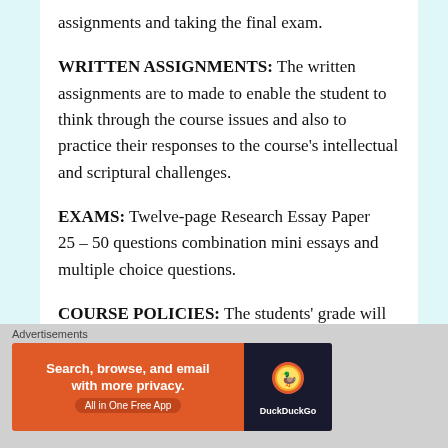assignments and taking the final exam.
WRITTEN ASSIGNMENTS: The written assignments are to made to enable the student to think through the course issues and also to practice their responses to the course's intellectual and scriptural challenges.
EXAMS: Twelve-page Research Essay Paper 25 – 50 questions combination mini essays and multiple choice questions.
COURSE POLICIES: The students' grade will be based on the following percentages.
Essay: 50%
[Figure (screenshot): DuckDuckGo advertisement banner: 'Search, browse, and email with more privacy. All in One Free App' on orange background with DuckDuckGo logo on dark background.]